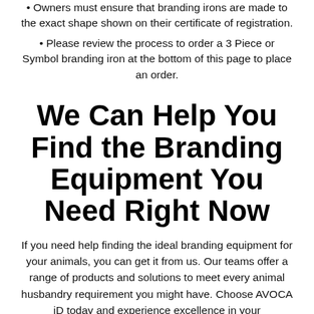Owners must ensure that branding irons are made to the exact shape shown on their certificate of registration.
Please review the process to order a 3 Piece or Symbol branding iron at the bottom of this page to place an order.
We Can Help You Find the Branding Equipment You Need Right Now
If you need help finding the ideal branding equipment for your animals, you can get it from us. Our teams offer a range of products and solutions to meet every animal husbandry requirement you might have. Choose AVOCA iD today and experience excellence in your